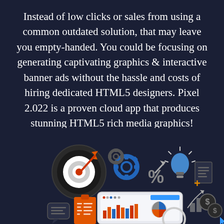Instead of low clicks or sales from using a common outdated solution, that may leave you empty-handed. You could be focusing on generating captivating graphics & interactive banner ads without the hassle and costs of hiring dedicated HTML5 designers. Pixel 2.022 is a proven cloud app that produces stunning HTML5 rich media graphics!
[Figure (illustration): A dark background infographic illustration showing various digital marketing icons: a dartboard with arrow target, gear cogs, a percentage symbol with upward arrow, a lightbulb, a document/note icon, a speech bubble chat icon, a clipboard with checklist, a tablet/laptop showing charts and graphs including bar charts and pie charts, bar graph growth chart, and dollar/coin icons with a cursor arrow.]